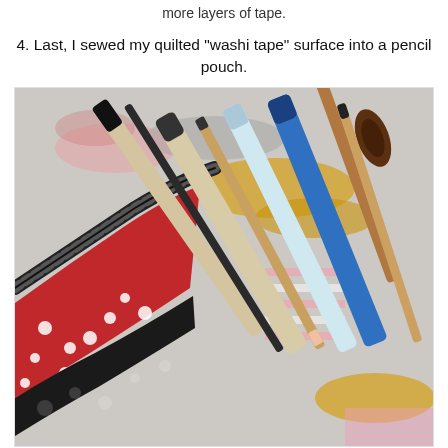more layers of tape.
4. Last, I sewed my quilted "washi tape" surface into a pencil pouch.
[Figure (photo): A photo of an open pencil pouch with a quilted washi-tape fabric exterior (red with white polka dots and black floral print) and a black zipper, filled with various art pens, pencils, a paintbrush, and a white marker, resting on a colorful painted surface.]